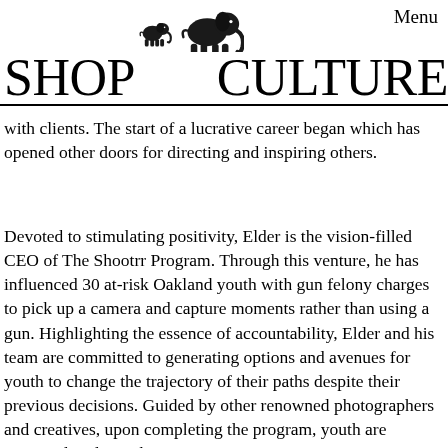Menu
[Figure (illustration): Two elephant silhouettes — a small elephant and a larger elephant walking together, rendered in black]
SHOP    CULTURE
with clients. The start of a lucrative career began which has opened other doors for directing and inspiring others.
Devoted to stimulating positivity, Elder is the vision-filled CEO of The Shootrr Program. Through this venture, he has influenced 30 at-risk Oakland youth with gun felony charges to pick up a camera and capture moments rather than using a gun. Highlighting the essence of accountability, Elder and his team are committed to generating options and avenues for youth to change the trajectory of their paths despite their previous decisions. Guided by other renowned photographers and creatives, upon completing the program, youth are equipped to direct their